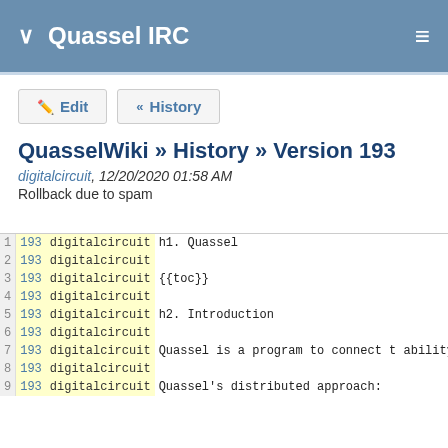Quassel IRC
QuasselWiki » History » Version 193
digitalcircuit, 12/20/2020 01:58 AM
Rollback due to spam
| line | version | author | content |
| --- | --- | --- | --- |
| 1 | 193 | digitalcircuit | h1. Quassel |
| 2 | 193 | digitalcircuit |  |
| 3 | 193 | digitalcircuit | {{toc}} |
| 4 | 193 | digitalcircuit |  |
| 5 | 193 | digitalcircuit | h2. Introduction |
| 6 | 193 | digitalcircuit |  |
| 7 | 193 | digitalcircuit | Quassel is a program to connect t
ability to split the graphical co
that handles the IRC connection (
have a remote core permanently co
and attach a client from wherever
information or settings. However,
other client by combining them in
"Quassel Mono". |
| 8 | 193 | digitalcircuit |  |
| 9 | 193 | digitalcircuit | Quassel's distributed approach: |